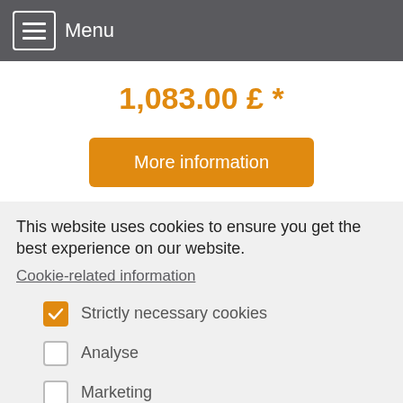Menu
1,083.00 £ *
[Figure (other): Orange 'More information' button]
This website uses cookies to ensure you get the best experience on our website.
Cookie-related information
Strictly necessary cookies
Analyse
Marketing
Accept all
Save